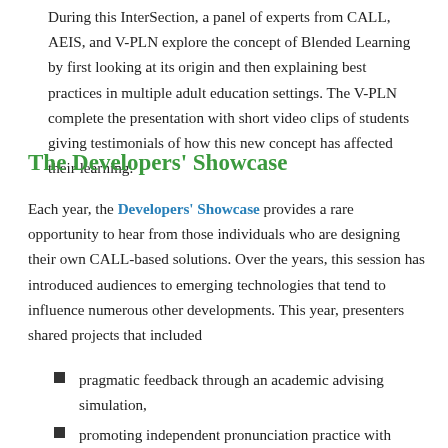During this InterSection, a panel of experts from CALL, AEIS, and V-PLN explore the concept of Blended Learning by first looking at its origin and then explaining best practices in multiple adult education settings. The V-PLN complete the presentation with short video clips of students giving testimonials of how this new concept has affected their learning.
The Developers' Showcase
Each year, the Developers' Showcase provides a rare opportunity to hear from those individuals who are designing their own CALL-based solutions. Over the years, this session has introduced audiences to emerging technologies that tend to influence numerous other developments. This year, presenters shared projects that included
pragmatic feedback through an academic advising simulation,
promoting independent pronunciation practice with